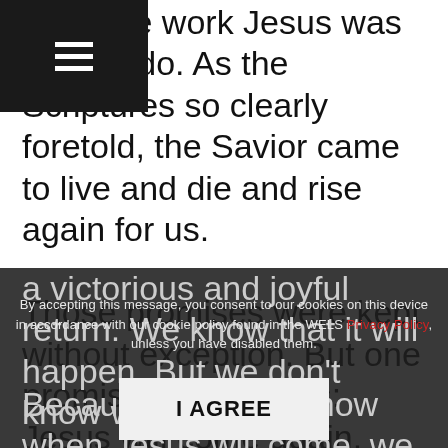dit of the work Jesus was born to do. As the Scriptures so clearly foretold, the Savior came to live and die and rise again for us. Those promises were kept without exception. But one promise still remains: Jesus will come again. Unlike his first coming in lowliness and humility, the second coming of Jesus will be a victorious and joyful return. We know that it will happen. But we don't know when. Because we don't know when Jesus will come, we can ea... t of that promise. We can become spiritually near-
By accepting this message, you consent to our cookies on this device in accordance with our cookie policy found in the WELS Privacy Policy, unless you have disabled them.
I AGREE